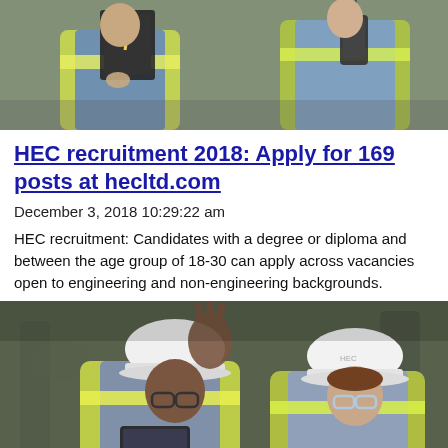[Figure (photo): Two workers in yellow safety vests, one holding a clipboard/tablet, photographed from chest level in an industrial setting]
HEC recruitment 2018: Apply for 169 posts at hecltd.com
December 3, 2018 10:29:22 am
HEC recruitment: Candidates with a degree or diploma and between the age group of 18-30 can apply across vacancies open to engineering and non-engineering backgrounds.
[Figure (photo): Two engineers in white hard hats and yellow safety vests looking upward; one is pointing, the other holds a tablet, in an industrial facility]